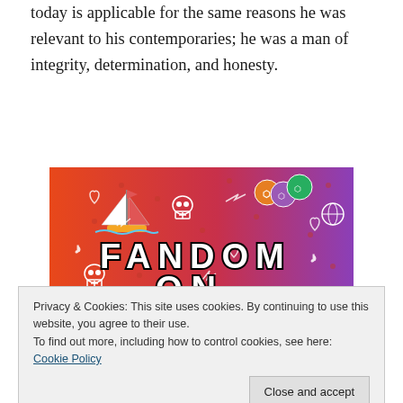today is applicable for the same reasons he was relevant to his contemporaries; he was a man of integrity, determination, and honesty.
[Figure (illustration): Colorful promotional banner reading 'FANDOM ON tumblr' with illustrated icons including a sailboat, skull, dice, and various doodles on an orange-to-purple gradient background.]
Privacy & Cookies: This site uses cookies. By continuing to use this website, you agree to their use.
To find out more, including how to control cookies, see here: Cookie Policy
children? Regardless of differences and similarities one